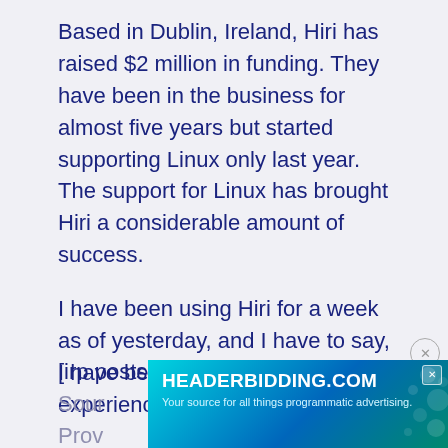Based in Dublin, Ireland, Hiri has raised $2 million in funding. They have been in the business for almost five years but started supporting Linux only last year. The support for Linux has brought Hiri a considerable amount of success.
I have been using Hiri for a week as of yesterday, and I have to say, I have been very pleased with my experience…for the most part.
[irp posts="25352" name="ProtonMail: An Open Source Email Provider...
[Figure (screenshot): Advertisement banner for HEADERBIDDING.COM with tagline 'Your source for all things programmatic advertising.' on a teal/blue gradient background with decorative dots pattern on the right side.]